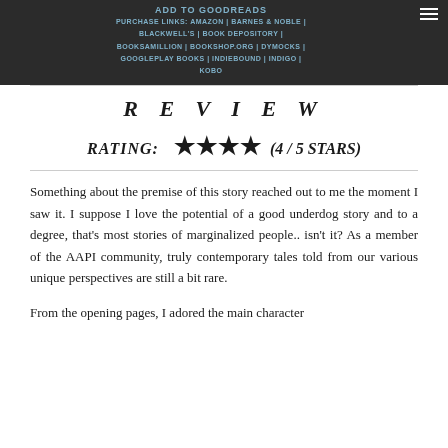Add to Goodreads | PURCHASE LINKS: AMAZON | BARNES & NOBLE | BLACKWELL'S | BOOK DEPOSITORY | BOOKSAMILLION | BOOKSHOP.ORG | DYMOCKS | GOOGLEPLAY BOOKS | INDIEBOUND | INDIGO | KOBO
REVIEW
RATING: ★★★★ (4/5 STARS)
Something about the premise of this story reached out to me the moment I saw it. I suppose I love the potential of a good underdog story and to a degree, that's most stories of marginalized people.. isn't it? As a member of the AAPI community, truly contemporary tales told from our various unique perspectives are still a bit rare.
From the opening pages, I adored the main character